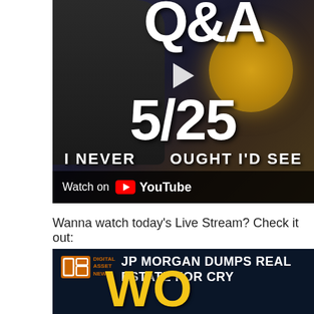[Figure (screenshot): YouTube video thumbnail showing a man thinking with hand on chin, large white text 'Q&A 5/25', Bitcoin coin graphic, text 'I NEVER THOUGHT I'D SEE', with 'Watch on YouTube' bar at bottom]
Wanna watch today's Live Stream? Check it out:
[Figure (screenshot): Second YouTube video thumbnail showing Digital Asset News logo and title 'JP MORGAN DUMPS REAL ESTATE FOR CRY...' with yellow bold text below]